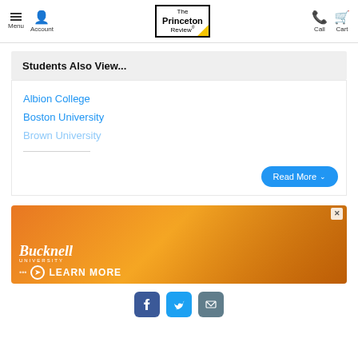The Princeton Review — Menu, Account, Call, Cart
Students Also View...
Albion College
Boston University
Brown University
[Figure (screenshot): Bucknell University advertisement banner with orange background, student photo, and 'LEARN MORE' call to action]
[Figure (infographic): Social media icons: Facebook (blue), Twitter (cyan), Email (grey)]